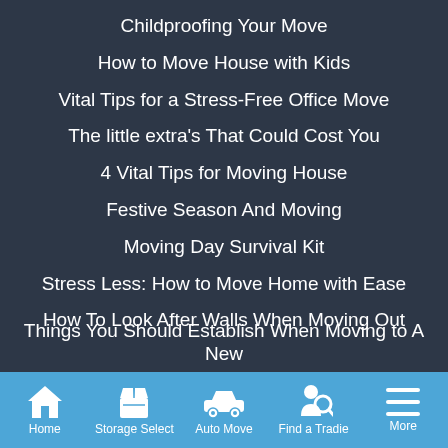Childproofing Your Move
How to Move House with Kids
Vital Tips for a Stress-Free Office Move
The little extra's That Could Cost You
4 Vital Tips for Moving House
Festive Season And Moving
Moving Day Survival Kit
Stress Less: How to Move Home with Ease
How To Look After Walls When Moving Out
Things You Should Establish When Moving to A New
Home  Storage Select  Auto Move  Find a Tradie  More